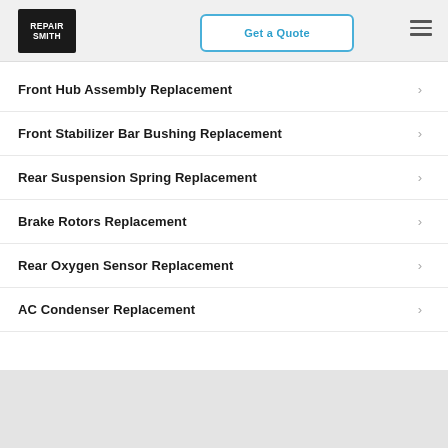RepairSmith — Get a Quote
Front Hub Assembly Replacement
Front Stabilizer Bar Bushing Replacement
Rear Suspension Spring Replacement
Brake Rotors Replacement
Rear Oxygen Sensor Replacement
AC Condenser Replacement